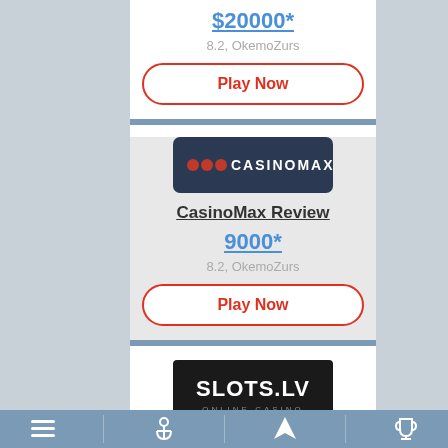$20000*
8.2, OkemoZurs
Play Now
[Figure (logo): CasinoMax logo — dark navy rounded rectangle with three red dots and CASINOMAX text in white]
CasinoMax Review
9000*
8.2, OkemoZurs
Play Now
[Figure (logo): Slots.lv Online Casino logo — black rectangle with SLOTS.LV in large white/orange text and ONLINE CASINO subtitle]
Slots.lv Review
Navigation bar with menu, anchor, location, and trophy icons